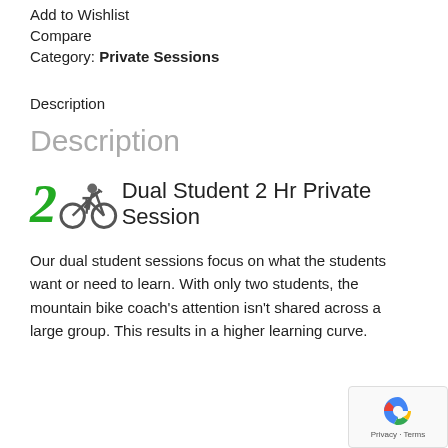Add to Wishlist
Compare
Category: Private Sessions
Description
Description
[Figure (illustration): Green stylized number 2 followed by a mountain biker icon, alongside text 'Dual Student 2 Hr Private Session']
Our dual student sessions focus on what the students want or need to learn. With only two students, the mountain bike coach's attention isn't shared across a large group. This results in a higher learning curve.